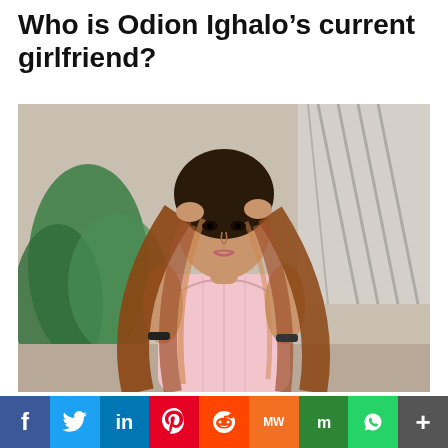Who is Odion Ighalo’s current girlfriend?
[Figure (photo): A young woman with long auburn/brown wavy hair wearing a pink strapless corset-style top, posing with hands near her hair, with green plants and a zebra-print artwork in the background.]
f  Twitter  in  Pinterest  Reddit  MW  Mix  WhatsApp  +